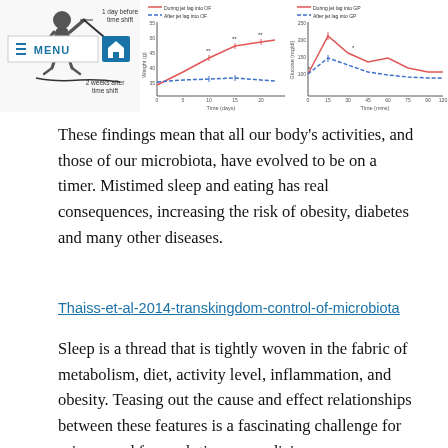[Figure (illustration): Header image showing: left - silhouette figure with labels '1 day before time shift' and '2 weeks after time shift'; center - line chart of Weight (g) vs Time (days) with two series 'During jet lag into OF' and 'After jet lag into OF'; right - line chart of Glucose (mg/dl) vs Time (mins) with two series. Navigation menu bar with MENU button and home icon overlaid on left side.]
These findings mean that all our body's activities, and those of our microbiota, have evolved to be on a timer. Mistimed sleep and eating has real consequences, increasing the risk of obesity, diabetes and many other diseases.
Thaiss-et-al-2014-transkingdom-control-of-microbiota
Sleep is a thread that is tightly woven in the fabric of metabolism, diet, activity level, inflammation, and obesity. Teasing out the cause and effect relationships between these features is a fascinating challenge for science and for evolutionary medicine.